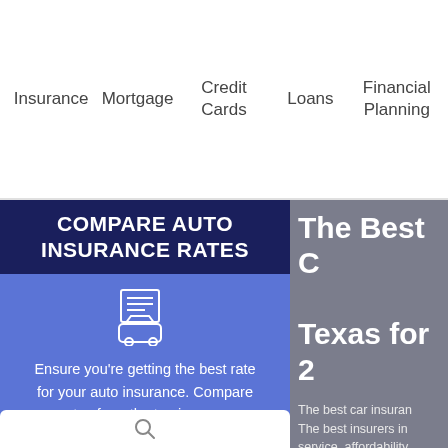Insurance   Mortgage   Credit Cards   Loans   Financial Planning
COMPARE AUTO INSURANCE RATES
Ensure you're getting the best rate for your auto insurance. Compare quotes from the top insurance companies.
The Best C... Texas for 2...
The best car insuran... The best insurers in... service, affordability... tied for first for stabi... second-most afforda... auto insurance in the...